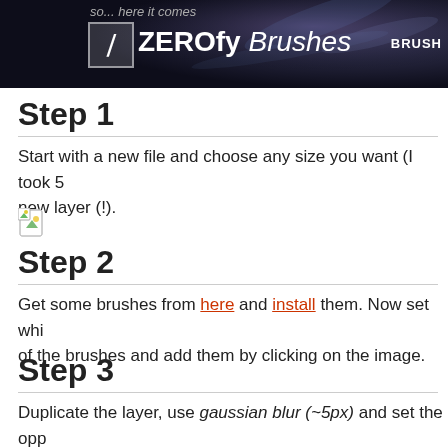so... here it comes ZEROfy Brushes BRUSH
Step 1
Start with a new file and choose any size you want (I took 5... new layer (!).
[Figure (illustration): Small image icon placeholder]
Step 2
Get some brushes from here and install them. Now set whi... of the brushes and add them by clicking on the image.
Step 3
Duplicate the layer, use gaussian blur (~5px) and set the opp...
Step 4
Create a new layer and use the big 300px brush with 2 colo...